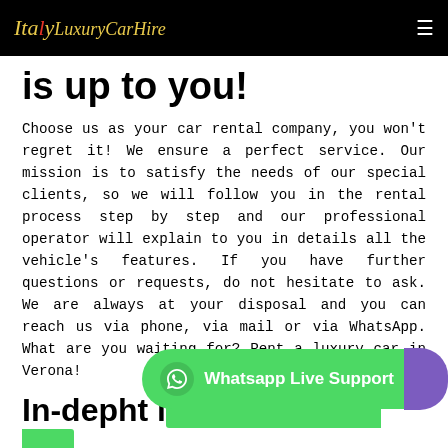Italy Luxury Car Hire
is up to you!
Choose us as your car rental company, you won't regret it! We ensure a perfect service. Our mission is to satisfy the needs of our special clients, so we will follow you in the rental process step by step and our professional operator will explain to you in details all the vehicle's features. If you have further questions or requests, do not hesitate to ask. We are always at your disposal and you can reach us via phone, via mail or via WhatsApp. What are you waiting for? Rent a luxury car in Verona!
In-depht information on our fantastic luxury cars